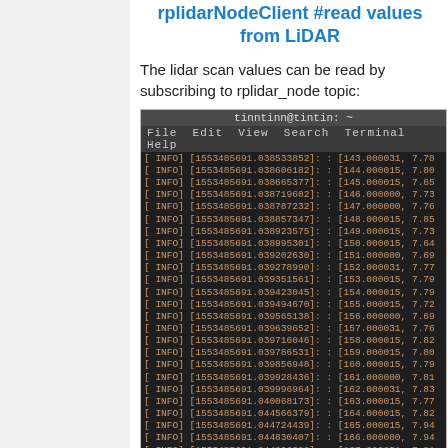rplidarNodeClient #read values from LiDAR
The lidar scan values can be read by subscribing to rplidar_node topic:
[Figure (screenshot): Terminal window showing rplidar node output with INFO log lines containing timestamps around 1553485691.038-1553485691.045 and angle/distance value pairs starting from 143 to 172 degrees]